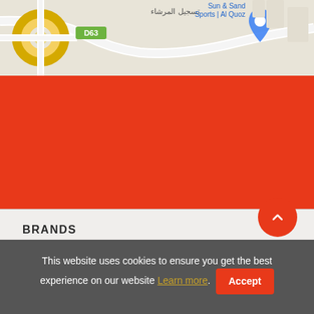[Figure (map): Google Maps partial view showing road map with Arabic text, D63 road label, and Sun & Sand Sports | Al Quoz location pin]
BRANDS +
ABOUT US +
KEEP IN TOUCH +
This website uses cookies to ensure you get the best experience on our website Learn more. Accept